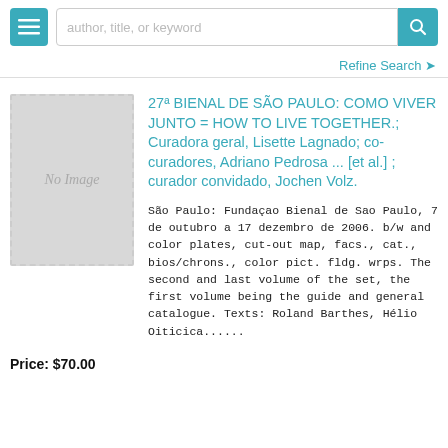author, title, or keyword
Refine Search
[Figure (other): No Image placeholder — grey rectangle with dashed border and italic 'No Image' text]
27ª BIENAL DE SÃO PAULO: COMO VIVER JUNTO = HOW TO LIVE TOGETHER.; Curadora geral, Lisette Lagnado; co-curadores, Adriano Pedrosa ... [et al.] ; curador convidado, Jochen Volz.
São Paulo: Fundaçao Bienal de Sao Paulo, 7 de outubro a 17 dezembro de 2006. b/w and color plates, cut-out map, facs., cat., bios/chrons., color pict. fldg. wrps. The second and last volume of the set, the first volume being the guide and general catalogue. Texts: Roland Barthes, Hélio Oiticica......
Price: $70.00